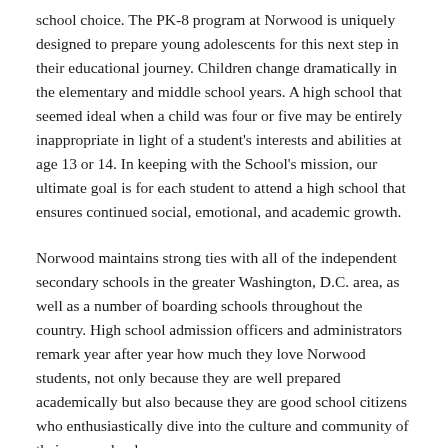school choice. The PK-8 program at Norwood is uniquely designed to prepare young adolescents for this next step in their educational journey. Children change dramatically in the elementary and middle school years. A high school that seemed ideal when a child was four or five may be entirely inappropriate in light of a student's interests and abilities at age 13 or 14. In keeping with the School's mission, our ultimate goal is for each student to attend a high school that ensures continued social, emotional, and academic growth.
Norwood maintains strong ties with all of the independent secondary schools in the greater Washington, D.C. area, as well as a number of boarding schools throughout the country. High school admission officers and administrators remark year after year how much they love Norwood students, not only because they are well prepared academically but also because they are good school citizens who enthusiastically dive into the culture and community of their new schools.